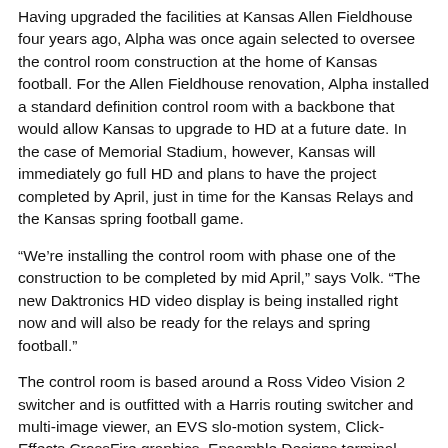Having upgraded the facilities at Kansas Allen Fieldhouse four years ago, Alpha was once again selected to oversee the control room construction at the home of Kansas football. For the Allen Fieldhouse renovation, Alpha installed a standard definition control room with a backbone that would allow Kansas to upgrade to HD at a future date. In the case of Memorial Stadium, however, Kansas will immediately go full HD and plans to have the project completed by April, just in time for the Kansas Relays and the Kansas spring football game.
“We’re installing the control room with phase one of the construction to be completed by mid April,” says Volk. “The new Daktronics HD video display is being installed right now and will also be ready for the relays and spring football.”
The control room is based around a Ross Video Vision 2 switcher and is outfitted with a Harris routing switcher and multi-image viewer, an EVS slo-motion system, Click-Effects CrossFire graphics, Ensemble Designs terminal equipment, and Sony XDCAM HD and XDCAM EX VTR’s. The control